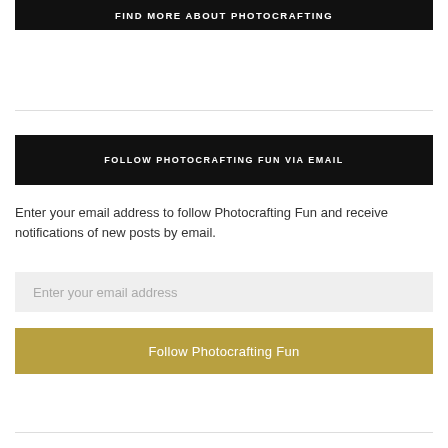FIND MORE ABOUT PHOTOCRAFTING
FOLLOW PHOTOCRAFTING FUN VIA EMAIL
Enter your email address to follow Photocrafting Fun and receive notifications of new posts by email.
Enter your email address
Follow Photocrafting Fun